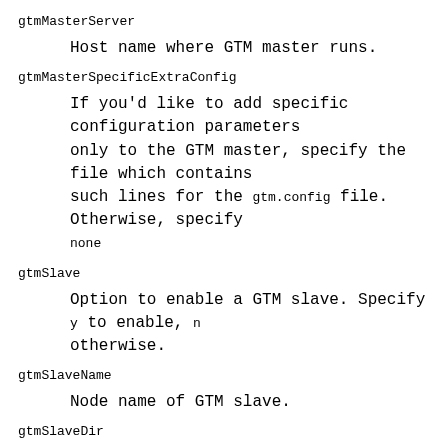gtmMasterServer
    Host name where GTM master runs.
gtmMasterSpecificExtraConfig
    If you'd like to add specific configuration parameters only to the GTM master, specify the file which contains such lines for the gtm.config file. Otherwise, specify none
gtmSlave
    Option to enable a GTM slave. Specify y to enable, n otherwise.
gtmSlaveName
    Node name of GTM slave.
gtmSlaveDir
    Work directory for GTM slave.
gtmSlavePort
    Listening port number of GTM slave.